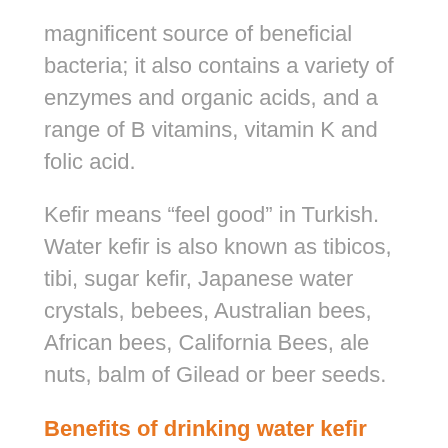magnificent source of beneficial bacteria; it also contains a variety of enzymes and organic acids, and a range of B vitamins, vitamin K and folic acid.
Kefir means “feel good” in Turkish. Water kefir is also known as tibicos, tibi, sugar kefir, Japanese water crystals, bebees, Australian bees, African bees, California Bees, ale nuts, balm of Gilead or beer seeds.
Benefits of drinking water kefir and